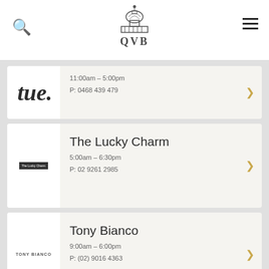QVB
tue. 11:00am - 5:00pm P: 0468 439 479
The Lucky Charm 5:00am - 6:30pm P: 02 9261 2985
Tony Bianco 9:00am - 6:00pm P: (02) 9016 4363